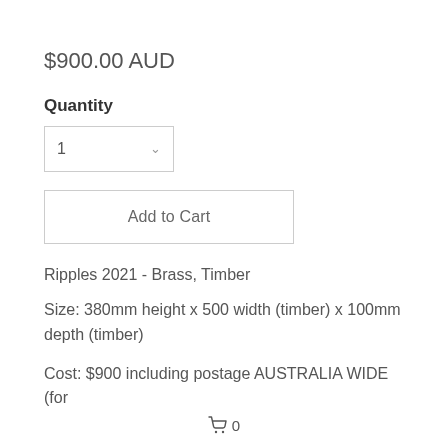$900.00 AUD
Quantity
1
Add to Cart
Ripples 2021 - Brass, Timber
Size: 380mm height x 500 width (timber) x 100mm depth (timber)
Cost: $900 including postage AUSTRALIA WIDE (for
🛒 0